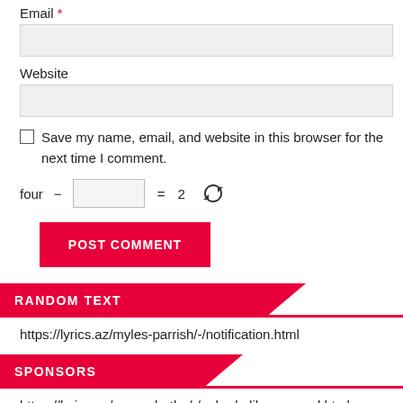Email *
Website
Save my name, email, and website in this browser for the next time I comment.
four − [input] = 2 [refresh]
POST COMMENT
RANDOM TEXT
https://lyrics.az/myles-parrish/-/notification.html
SPONSORS
https://lyrics.az/myron-butler/-/nobody-like-our-god.html